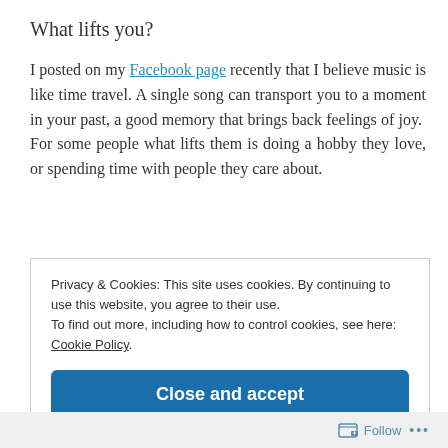What lifts you?
I posted on my Facebook page recently that I believe music is like time travel. A single song can transport you to a moment in your past, a good memory that brings back feelings of joy.  For some people what lifts them is doing a hobby they love, or spending time with people they care about.
Privacy & Cookies: This site uses cookies. By continuing to use this website, you agree to their use.
To find out more, including how to control cookies, see here: Cookie Policy.
Close and accept
Follow ...